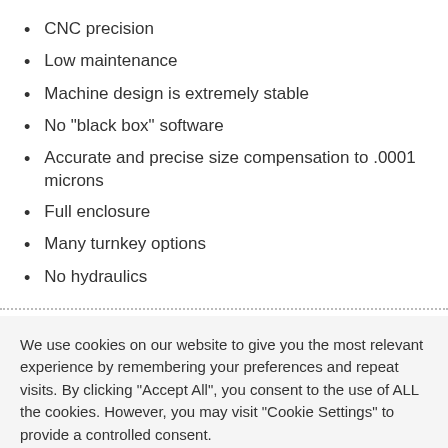CNC precision
Low maintenance
Machine design is extremely stable
No "black box" software
Accurate and precise size compensation to .0001 microns
Full enclosure
Many turnkey options
No hydraulics
We use cookies on our website to give you the most relevant experience by remembering your preferences and repeat visits. By clicking "Accept All", you consent to the use of ALL the cookies. However, you may visit "Cookie Settings" to provide a controlled consent.